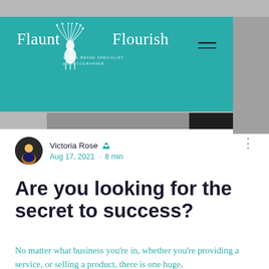[Figure (screenshot): Flaunt & Flourish website header with teal navigation bar, logo with peacock icon, and grey background. Shows website navigation with hamburger menu.]
Victoria Rose 🪖 Admin
Aug 17, 2021 · 8 min
Are you looking for the secret to success?
No matter what business you're in, whether you're providing a service, or selling a product, there is one huge,